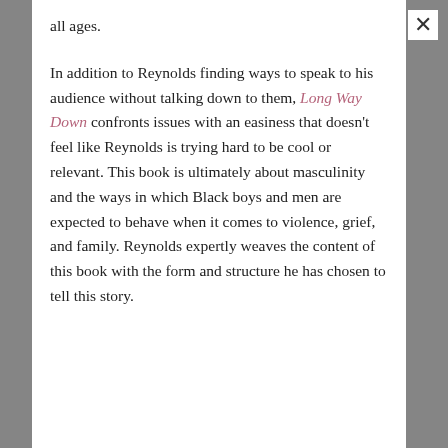Keep Up With The Stacks
Subscribe
all ages.
In addition to Reynolds finding ways to speak to his audience without talking down to them, Long Way Down confronts issues with an easiness that doesn't feel like Reynolds is trying hard to be cool or relevant. This book is ultimately about masculinity and the ways in which Black boys and men are expected to behave when it comes to violence, grief, and family. Reynolds expertly weaves the content of this book with the form and structure he has chosen to tell this story.